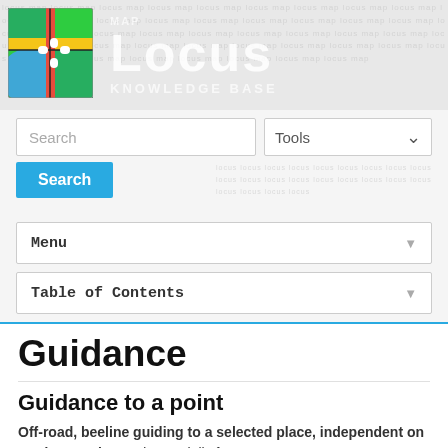[Figure (logo): Locus Map Knowledge Base logo with puzzle-piece map icon and 'MAP LOCUS KNOWLEDGE BASE' text on grey banner]
Search
Tools
Search
Menu
Table of Contents
Guidance
Guidance to a point
Off-road, beeline guiding to a selected place, independent on road network. Used especially for